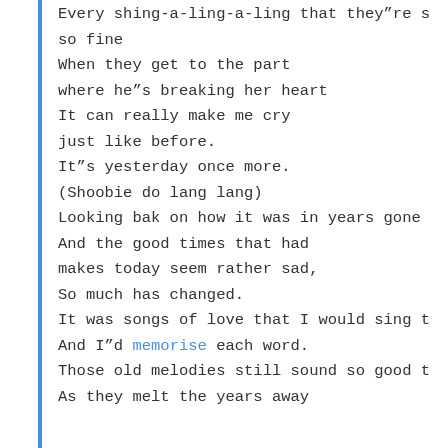Every shing-a-ling-a-ling that they"re s
so fine
When they get to the part
where he"s breaking her heart
It can really make me cry
just like before.
It"s yesterday once more.
(Shoobie do lang lang)
Looking bak on how it was in years gone
And the good times that had
makes today seem rather sad,
So much has changed.
It was songs of love that I would sing t
And I"d memorise each word.
Those old melodies still sound so good t
As they melt the years away